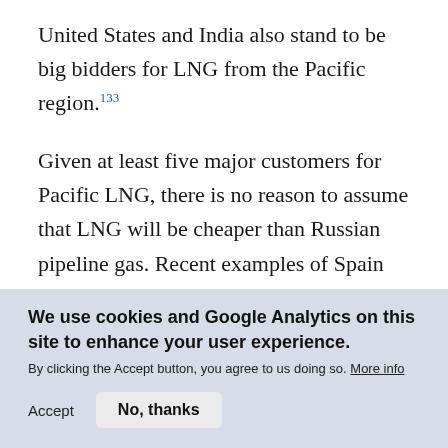United States and India also stand to be big bidders for LNG from the Pacific region.133
Given at least five major customers for Pacific LNG, there is no reason to assume that LNG will be cheaper than Russian pipeline gas. Recent examples of Spain outbidding the United States for long-term contracts indicate how the LNG market has not yet developed enough supply to
We use cookies and Google Analytics on this site to enhance your user experience.
By clicking the Accept button, you agree to us doing so. More info
Accept   No, thanks